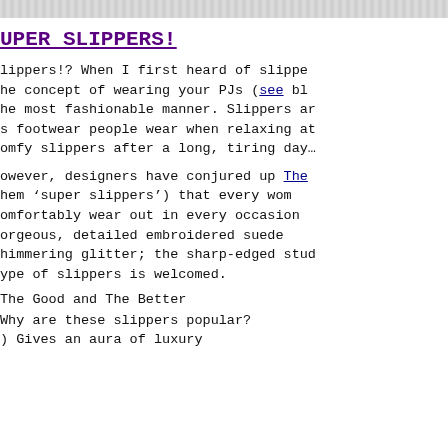UPER SLIPPERS!
lippers!? When I first heard of slippe he concept of wearing your PJs (see bl he most fashionable manner. Slippers ar s footwear people wear when relaxing at omfy slippers after a long, tiring day…
owever, designers have conjured up The hem ‘super slippers’) that every wom omfortably wear out in every occasion orgeous, detailed embroidered suede himmering glitter; the sharp-edged stud ype of slippers is welcomed.
The Good and The Better
Why are these slippers popular?
) Gives an aura of luxury